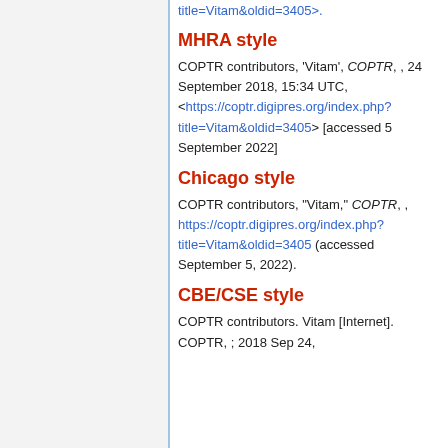title=Vitam&oldid=3405>.
MHRA style
COPTR contributors, 'Vitam', COPTR, , 24 September 2018, 15:34 UTC, <https://coptr.digipres.org/index.php?title=Vitam&oldid=3405> [accessed 5 September 2022]
Chicago style
COPTR contributors, "Vitam," COPTR, , https://coptr.digipres.org/index.php?title=Vitam&oldid=3405 (accessed September 5, 2022).
CBE/CSE style
COPTR contributors. Vitam [Internet]. COPTR, ; 2018 Sep 24,